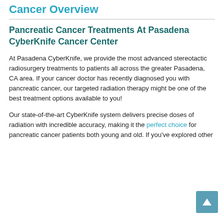Cancer Overview
Pancreatic Cancer Treatments At Pasadena CyberKnife Cancer Center
At Pasadena CyberKnife, we provide the most advanced stereotactic radiosurgery treatments to patients all across the greater Pasadena, CA area. If your cancer doctor has recently diagnosed you with pancreatic cancer, our targeted radiation therapy might be one of the best treatment options available to you!
Our state-of-the-art CyberKnife system delivers precise doses of radiation with incredible accuracy, making it the perfect choice for pancreatic cancer patients both young and old. If you've explored other treatment options, you may have found that...